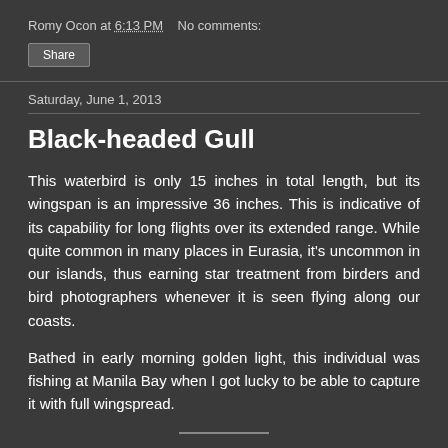Romy Ocon at 6:13 PM    No comments:
Share
Saturday, June 1, 2013
Black-headed Gull
This waterbird is only 15 inches in total length, but its wingspan is an impressive 36 inches. This is indicative of its capability for long flights over its extended range. While quite common in many places in Eurasia, it's uncommon in our islands, thus earning star treatment from birders and bird photographers whenever it is seen flying along our coasts.
Bathed in early morning golden light, this individual was fishing at Manila Bay when I got lucky to be able to capture it with full wingspread.